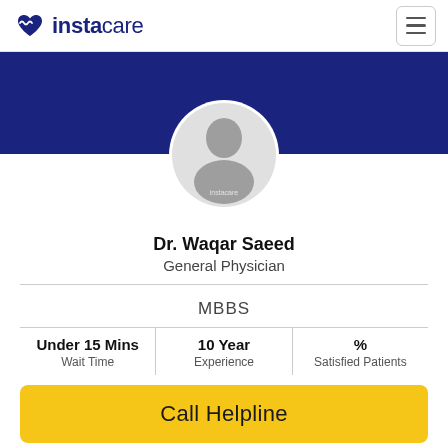instacare
[Figure (logo): Instacare logo with heart/wave icon]
[Figure (photo): Generic doctor silhouette profile avatar in circular frame]
Dr. Waqar Saeed
General Physician
MBBS
| Wait Time | Experience | Satisfied Patients |
| --- | --- | --- |
| Under 15 Mins | 10 Year | % |
Call Helpline